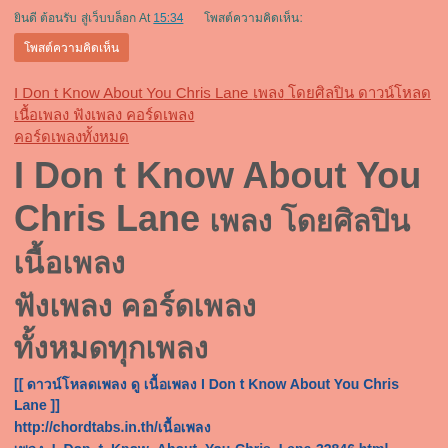ยินดี ต้อนรับ สู่เว็บบล็อก At 15:34 โพสต์ความคิดเห็น:
โพสต์ความคิดเห็น
I Don t Know About You Chris Lane เพลง โดยศิลปิน ดาวน์โหลด เนื้อเพลง ฟังเพลง คอร์ดเพลง
I Don t Know About You Chris Lane เพลง โดยศิลปิน เนื้อเพลง ฟังเพลง คอร์ดเพลง
[[ ดาวน์โหลดเพลง ดู เนื้อเพลง I Don t Know About You Chris Lane ]] http://chordtabs.in.th/เนื้อเพลง_I_Don_t_Know_About_You-Chris_Lane-32846.html เนื้อเพลง I Don t Know About You Chris Lane